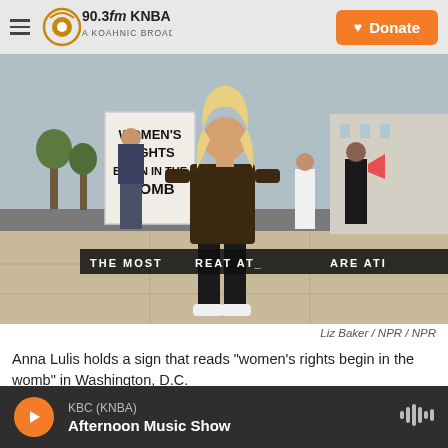90.3fm KNBA — A Koahnic Broadcast Station | Donate
[Figure (photo): A woman (Anna Lulis) stands on a sidewalk in Washington D.C. holding a sign that reads 'Women's Rights Begin in the Womb'. Other protesters are visible in the background near what appears to be the Supreme Court.]
Liz Baker / NPR / NPR
Anna Lulis holds a sign that reads "women's rights begin in the womb" in Washington, D.C.
KBC (KNBA) — Afternoon Music Show